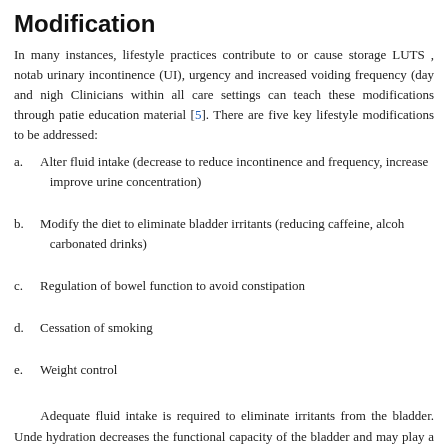Modification
In many instances, lifestyle practices contribute to or cause storage LUTS , notably urinary incontinence (UI), urgency and increased voiding frequency (day and night). Clinicians within all care settings can teach these modifications through patient education material [5]. There are five key lifestyle modifications to be addressed:
a. Alter fluid intake (decrease to reduce incontinence and frequency, increase to improve urine concentration)
b. Modify the diet to eliminate bladder irritants (reducing caffeine, alcohol, carbonated drinks)
c. Regulation of bowel function to avoid constipation
d. Cessation of smoking
e. Weight control
Adequate fluid intake is required to eliminate irritants from the bladder. Under hydration decreases the functional capacity of the bladder and may play a role in the development of UTIs, while excessive fluid intake can trigger incontinence and